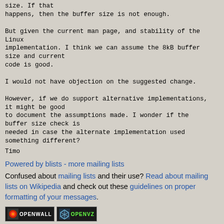size. If that
happens, then the buffer size is not enough.

But given the current man page, and stability of the Linux
implementation. I think we can assume the 8kB buffer size and current
code is good.

I would not have objection on the suggested change.

However, if we do support alternative implementations, it might be good
to document the assumptions made. I wonder if the buffer size check is
needed in case the alternate implementation used something different?
Timo
Powered by blists - more mailing lists
Confused about mailing lists and their use? Read about mailing lists on Wikipedia and check out these guidelines on proper formatting of your messages.
[Figure (logo): Openwall and OpenVZ badge logos]